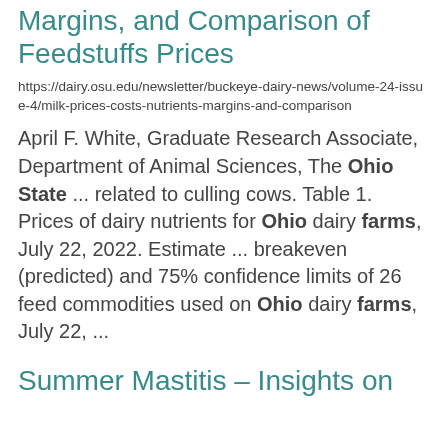Margins, and Comparison of Feedstuffs Prices
https://dairy.osu.edu/newsletter/buckeye-dairy-news/volume-24-issue-4/milk-prices-costs-nutrients-margins-and-comparison
April F. White, Graduate Research Associate, Department of Animal Sciences, The Ohio State ... related to culling cows. Table 1. Prices of dairy nutrients for Ohio dairy farms, July 22, 2022. Estimate ... breakeven (predicted) and 75% confidence limits of 26 feed commodities used on Ohio dairy farms, July 22, ...
Summer Mastitis – Insights on